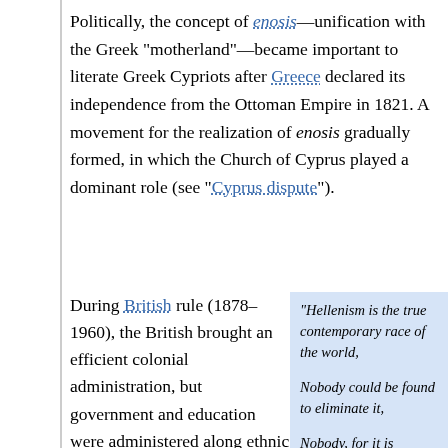Politically, the concept of enosis—unification with the Greek "motherland"—became important to literate Greek Cypriots after Greece declared its independence from the Ottoman Empire in 1821. A movement for the realization of enosis gradually formed, in which the Church of Cyprus played a dominant role (see "Cyprus dispute").
During British rule (1878–1960), the British brought an efficient colonial administration, but government and education were administered along ethnic lines, accentuating differences. For example
"Hellenism is the true contemporary race of the world, Nobody could be found to eliminate it, Nobody, for it is protected from